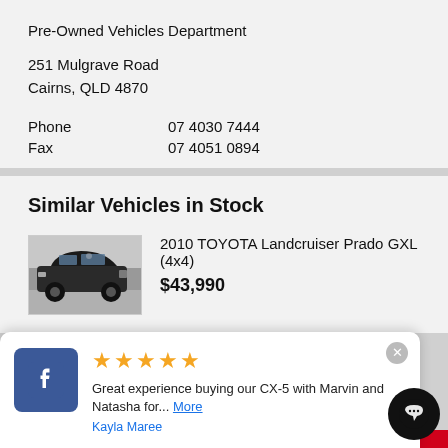Pre-Owned Vehicles Department
251 Mulgrave Road
Cairns, QLD 4870
| Phone | 07 4030 7444 |
| Fax | 07 4051 0894 |
Similar Vehicles in Stock
[Figure (photo): Black Toyota Landcruiser Prado SUV thumbnail image]
2010 TOYOTA Landcruiser Prado GXL (4x4)
$43,990
[Figure (other): Facebook review popup with 5 stars, review text: Great experience buying our CX-5 with Marvin and Natasha for... More, reviewer: Kayla Maree]